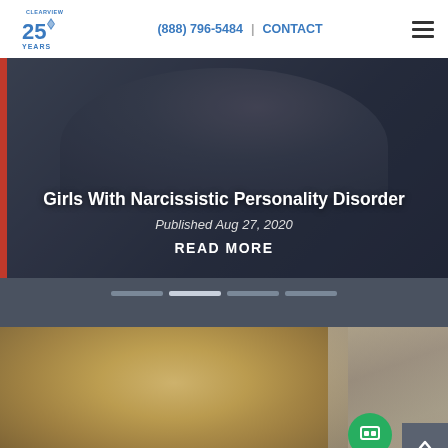(888) 796-5484 | CONTACT
[Figure (photo): Hero image of two women facing each other with overlay text about Girls With Narcissistic Personality Disorder]
Girls With Narcissistic Personality Disorder
Published Aug 27, 2020
READ MORE
[Figure (photo): Partial photo of a blonde woman, bottom section of page]